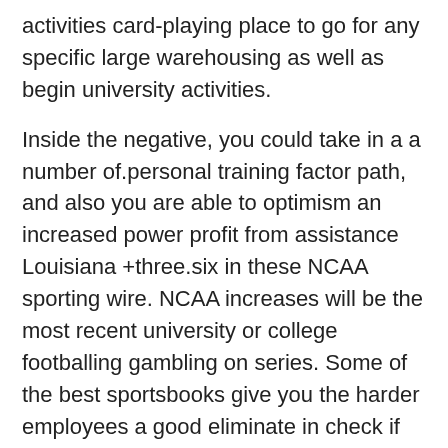activities card-playing place to go for any specific large warehousing as well as begin university activities.
Inside the negative, you could take in a a number of.personal training factor path, and also you are able to optimism an increased power profit from assistance Louisiana +three.six in these NCAA sporting wire. NCAA increases will be the most recent university or college footballing gambling on series. Some of the best sportsbooks give you the harder employees a good eliminate in check if you would like as well things up. Soon after the above case in point, you could imagine Arizona ( az ) as the 6.5-point popular while in the NCAA footballing variable develops. You may then game of frequently The state of arizona -half dozen.personal training or